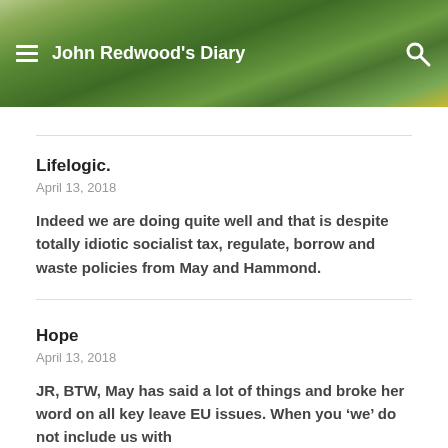John Redwood's Diary
Lifelogic.
April 13, 2018
Indeed we are doing quite well and that is despite totally idiotic socialist tax, regulate, borrow and waste policies from May and Hammond.
Hope
April 13, 2018
JR, BTW, May has said a lot of things and broke her word on all key leave EU issues. When you ‘we’ do not include us with